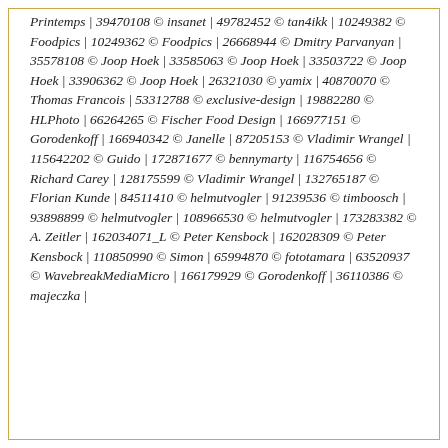Printemps | 39470108 © insanet | 49782452 © tan4ikk | 10249382 © Foodpics | 10249362 © Foodpics | 26668944 © Dmitry Parvanyan | 35578108 © Joop Hoek | 33585063 © Joop Hoek | 33503722 © Joop Hoek | 33906362 © Joop Hoek | 26321030 © yamix | 40870070 © Thomas Francois | 53312788 © exclusive-design | 19882280 © HLPhoto | 66264265 © Fischer Food Design | 166977151 © Gorodenkoff | 166940342 © Janelle | 87205153 © Vladimir Wrangel | 115642202 © Guido | 172871677 © bennymarty | 116754656 © Richard Carey | 128175599 © Vladimir Wrangel | 132765187 © Florian Kunde | 84511410 © helmutvogler | 91239536 © timboosch | 93898899 © helmutvogler | 108966530 © helmutvogler | 173283382 © A. Zeitler | 162034071_L © Peter Kensbock | 162028309 © Peter Kensbock | 110850990 © Simon | 65994870 © fototamara | 63520937 © WavebreakMediaMicro | 166179929 © Gorodenkoff | 36110386 © majeczka |